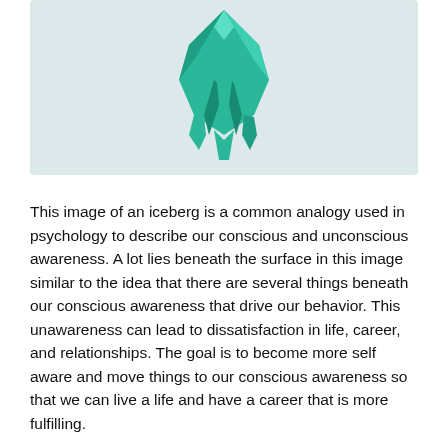[Figure (illustration): A 3D rendered teal/green iceberg floating, showing a geometric angular crystal-like shape on a light blue-grey background. The iceberg tip is visible above the surface.]
This image of an iceberg is a common analogy used in psychology to describe our conscious and unconscious awareness. A lot lies beneath the surface in this image similar to the idea that there are several things beneath our conscious awareness that drive our behavior. This unawareness can lead to dissatisfaction in life, career, and relationships. The goal is to become more self aware and move things to our conscious awareness so that we can live a life and have a career that is more fulfilling.